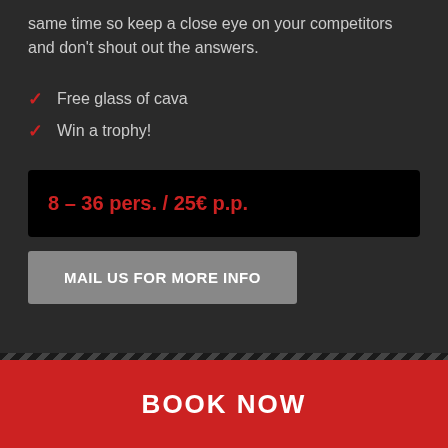same time so keep a close eye on your competitors and don't shout out the answers.
Free glass of cava
Win a trophy!
8 – 36 pers. / 25€ p.p.
MAIL US FOR MORE INFO
BOOK NOW